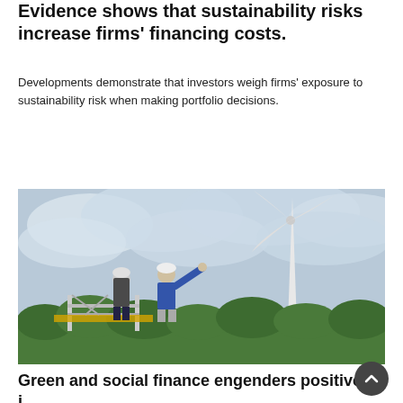Evidence shows that sustainability risks increase firms' financing costs.
Developments demonstrate that investors weigh firms' exposure to sustainability risk when making portfolio decisions.
Read more
[Figure (photo): Two workers wearing hard hats standing on a metal platform looking at a large wind turbine against a cloudy sky with green trees below.]
Green and social finance engenders positive investment opportunities